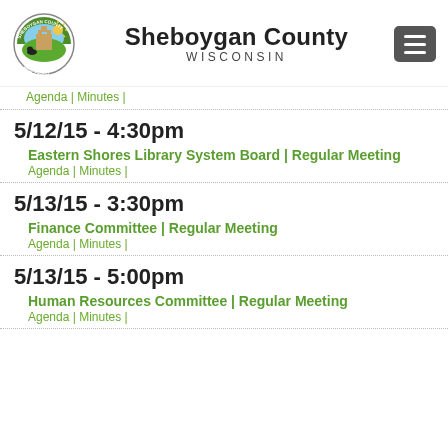[Figure (logo): Sheboygan County Wisconsin seal/logo — circular badge with county imagery]
Sheboygan County WISCONSIN
Agenda | Minutes |
5/12/15 - 4:30pm
Eastern Shores Library System Board | Regular Meeting
Agenda | Minutes |
5/13/15 - 3:30pm
Finance Committee | Regular Meeting
Agenda | Minutes |
5/13/15 - 5:00pm
Human Resources Committee | Regular Meeting
Agenda | Minutes |